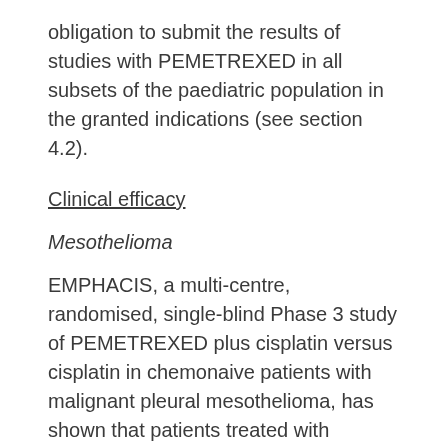obligation to submit the results of studies with PEMETREXED in all subsets of the paediatric population in the granted indications (see section 4.2).
Clinical efficacy
Mesothelioma
EMPHACIS, a multi-centre, randomised, single-blind Phase 3 study of PEMETREXED plus cisplatin versus cisplatin in chemonaive patients with malignant pleural mesothelioma, has shown that patients treated with PEMETREXED and cisplatin had a clinically meaningful 2.8-month median survival advantage over patients receiving cisplatin alone.